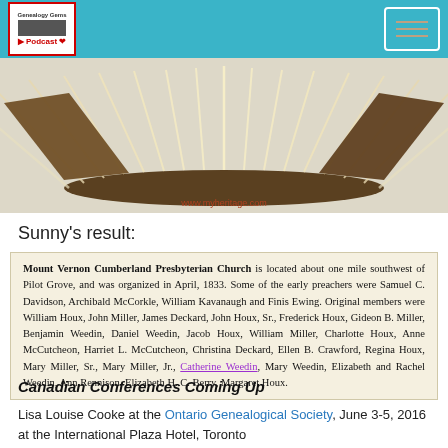Genealogy Gems Podcast
[Figure (photo): Open book fanned out, showing pages, with text www.myheritage.com at bottom]
Sunny's result:
Mount Vernon Cumberland Presbyterian Church is located about one mile southwest of Pilot Grove, and was organized in April, 1833. Some of the early preachers were Samuel C. Davidson, Archibald McCorkle, William Kavanaugh and Finis Ewing. Original members were William Houx, John Miller, James Deckard, John Houx, Sr., Frederick Houx, Gideon B. Miller, Benjamin Weedin, Daniel Weedin, Jacob Houx, William Miller, Charlotte Houx, Anne McCutcheon, Harriet L. McCutcheon, Christina Deckard, Ellen B. Crawford, Regina Houx, Mary Miller, Sr., Mary Miller, Jr., Catherine Weedin, Mary Weedin, Elizabeth and Rachel Weedin, Ann Rennison, Elizabeth H. C. Berry, Margaret Houx.
Canadian Conferences Coming Up
Lisa Louise Cooke at the Ontario Genealogical Society, June 3-5, 2016 at the International Plaza Hotel, Toronto